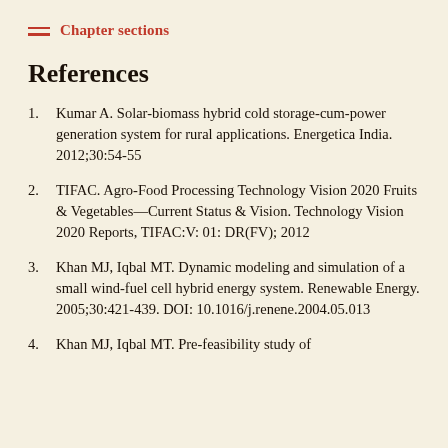Chapter sections
References
Kumar A. Solar-biomass hybrid cold storage-cum-power generation system for rural applications. Energetica India. 2012;30:54-55
TIFAC. Agro-Food Processing Technology Vision 2020 Fruits & Vegetables—Current Status & Vision. Technology Vision 2020 Reports, TIFAC:V:01: DR(FV); 2012
Khan MJ, Iqbal MT. Dynamic modeling and simulation of a small wind-fuel cell hybrid energy system. Renewable Energy. 2005;30:421-439. DOI: 10.1016/j.renene.2004.05.013
Khan MJ, Iqbal MT. Pre-feasibility study of